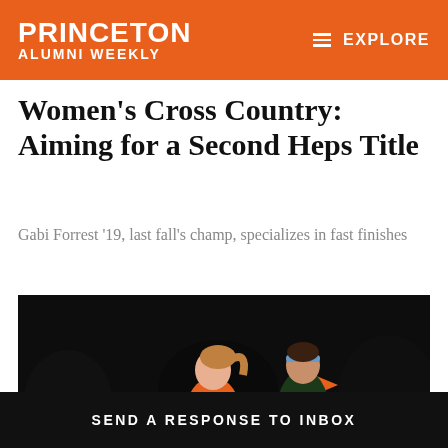PRINCETON ALUMNI WEEKLY  ≡ EXPLORE
Women's Cross Country: Aiming for a Second Heps Title
Gabi Forrest '19, last fall's champ, specializes in fast finishes
[Figure (photo): Two female soccer players running at night, one in Princeton orange and white uniform, one in dark green uniform with headband, on a grass field]
SEND A RESPONSE TO INBOX